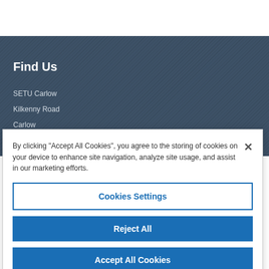Find Us
SETU Carlow
Kilkenny Road
Carlow
By clicking "Accept All Cookies", you agree to the storing of cookies on your device to enhance site navigation, analyze site usage, and assist in our marketing efforts.
Cookies Settings
Reject All
Accept All Cookies